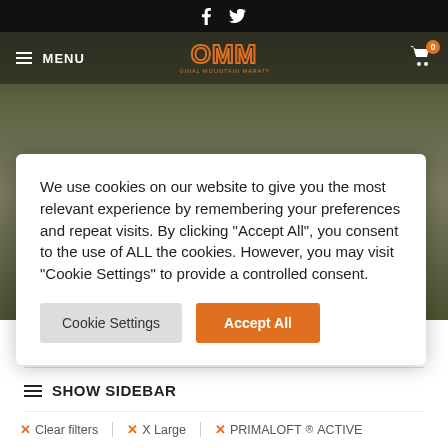Social icons: Facebook, Twitter
[Figure (screenshot): OMM (Original Mountain Marathon) website header with navigation bar, logo, and hero background image of athletes in mountain terrain]
We use cookies on our website to give you the most relevant experience by remembering your preferences and repeat visits. By clicking “Accept All”, you consent to the use of ALL the cookies. However, you may visit “Cookie Settings” to provide a controlled consent.
Cookie Settings | Accept All
Home / All Kit / Product Colour  Black
SHOW SIDEBAR
x Clear filters  x X Large  x PRIMALOFT® ACTIVE